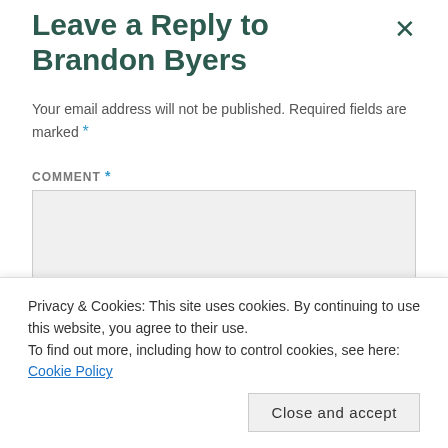Leave a Reply to Brandon Byers
Your email address will not be published. Required fields are marked *
COMMENT *
Privacy & Cookies: This site uses cookies. By continuing to use this website, you agree to their use.
To find out more, including how to control cookies, see here: Cookie Policy
Close and accept